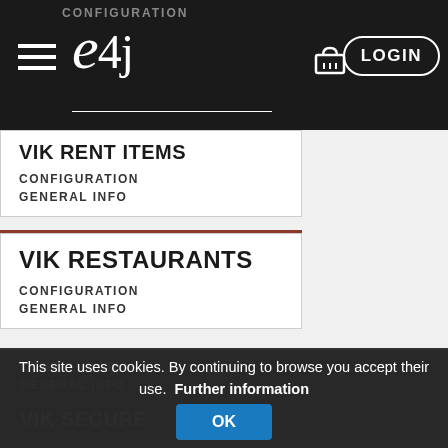e4j — Navigation menu with hamburger, basket icon, LOGIN button
VIK RENT ITEMS
CONFIGURATION
GENERAL INFO
VIK RESTAURANTS
CONFIGURATION
GENERAL INFO
VIK APPOINTMENTS
CONFIGURATION
GENERAL INFO
VIK SECURE
This site uses cookies. By continuing to browse you accept their use.  Further information  OK